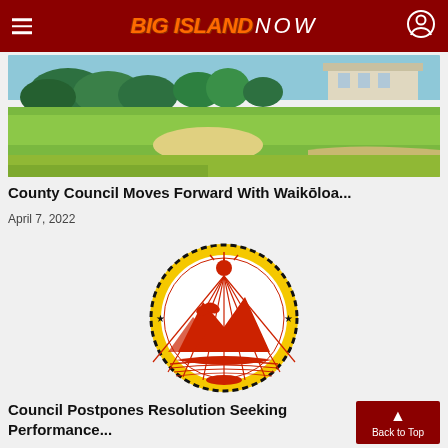Big Island Now
[Figure (photo): Golf course with green fairways, sand trap, palm trees, and building in background — Waikoloa area]
County Council Moves Forward With Waikōloa...
April 7, 2022
[Figure (logo): County of Hawaii official seal — circular seal with red and yellow design featuring volcanic landscape, palm trees, canoe, and radiating lines]
Council Postpones Resolution Seeking Performance...